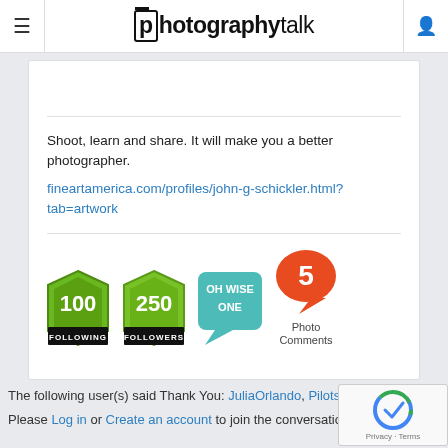photographytalk
Shoot, learn and share. It will make you a better photographer.
fineartamerica.com/profiles/john-g-schickler.html?tab=artwork
[Figure (infographic): Four achievement badges: '100 FOLLOWING' (green hexagon), '250 FOLLOWERS' (green badge), 'OH WISE ONE' (teal speech bubble), '5 Photo Comments' (red speech bubble)]
The following user(s) said Thank You: JuliaOrlando, Pilotshark
Please Log in or Create an account to join the conversation.
[Figure (logo): reCAPTCHA widget with Privacy and Terms text]